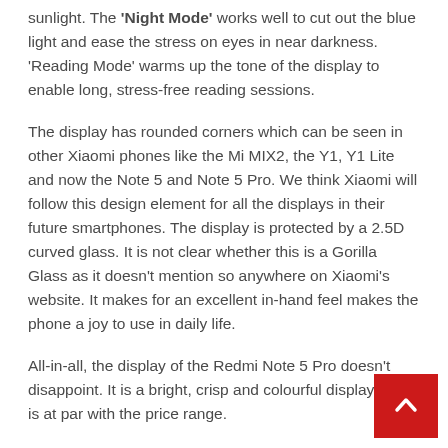sunlight. The 'Night Mode' works well to cut out the blue light and ease the stress on eyes in near darkness. 'Reading Mode' warms up the tone of the display to enable long, stress-free reading sessions.
The display has rounded corners which can be seen in other Xiaomi phones like the Mi MIX2, the Y1, Y1 Lite and now the Note 5 and Note 5 Pro. We think Xiaomi will follow this design element for all the displays in their future smartphones. The display is protected by a 2.5D curved glass. It is not clear whether this is a Gorilla Glass as it doesn't mention so anywhere on Xiaomi's website. It makes for an excellent in-hand feel makes the phone a joy to use in daily life.
All-in-all, the display of the Redmi Note 5 Pro doesn't disappoint. It is a bright, crisp and colourful display which is at par with the price range.
Cameras